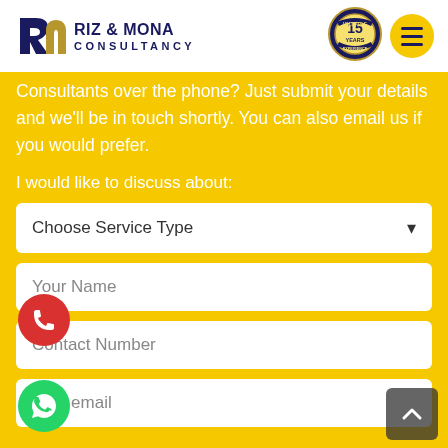[Figure (logo): Riz & Mona Consultancy logo with stylized R-M icon in dark blue and gold, and text 'RIZ & MONA CONSULTANCY']
[Figure (logo): 15 Years Valuable Experience badge/seal in gold and dark blue]
[Figure (illustration): Yellow circular menu/hamburger button with dark blue stripes]
Consultants over the phone? Just submit your details and we'll be in touch shortly. You can also email us if you would prefer.
I would like to discuss about:
Choose Service Type
Your Name
Contact Number
Your email